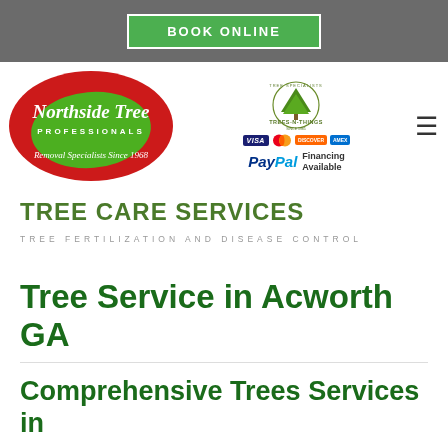BOOK ONLINE
[Figure (logo): Northside Tree Professionals logo - red oval with green leaf and white script text, Removal Specialists Since 1968]
[Figure (logo): Trees-N-Things tree specialist logo with tree illustration and payment icons: Visa, MasterCard, Discover, Amex, PayPal Financing Available]
TREE CARE SERVICES
TREE FERTILIZATION AND DISEASE CONTROL
Tree Service in Acworth GA
Comprehensive Trees Services in